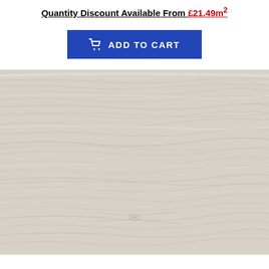Quantity Discount Available From £21.49m²
[Figure (other): Blue 'Add to Cart' button with shopping cart icon]
[Figure (photo): Close-up photo of light grey/white wood grain flooring texture, showing natural wood grain patterns and knots]